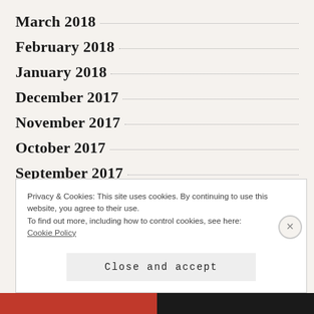March 2018
February 2018
January 2018
December 2017
November 2017
October 2017
September 2017
Privacy & Cookies: This site uses cookies. By continuing to use this website, you agree to their use.
To find out more, including how to control cookies, see here:
Cookie Policy
Close and accept